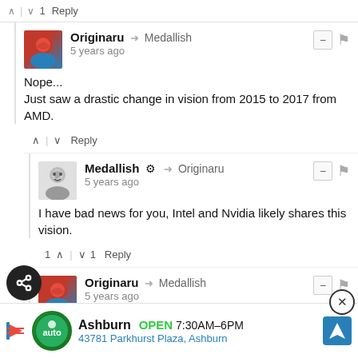^ | v 1 Reply
Originaru → Medallish  5 years ago
Nope...
Just saw a drastic change in vision from 2015 to 2017 from AMD.
^ | v Reply
Medallish → Originaru  5 years ago
I have bad news for you, Intel and Nvidia likely shares this vision.
1 ^ | v 1 Reply
Originaru → Medallish  5 years ago
I have bad news for you, they have different visions, AMD is going after political movements that i don't agree
[Figure (screenshot): Ad banner: Ashburn OPEN 7:30AM-6PM, 43781 Parkhurst Plaza, Ashburn]